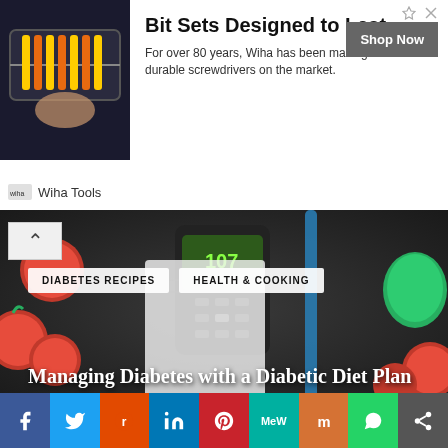[Figure (photo): Advertisement banner: Wiha Tools bit set photo with screwdrivers in a case. Text: 'Bit Sets Designed to Last - For over 80 years, Wiha has been making the most durable screwdrivers on the market.' Shop Now button.]
[Figure (photo): Hero image showing diabetes-related items: glucose meter, notebook, tomatoes, bell pepper on a dark surface. Overlaid tags: DIABETES RECIPES, HEALTH & COOKING. Title: Managing Diabetes with a Diabetic Diet Plan]
[Figure (illustration): Medical illustration of blood vessel cross-section with fruits (strawberries, blueberries, raspberries) inside, and blue artery branches on the left side.]
[Figure (infographic): Social sharing bar with icons for Facebook, Twitter, Reddit, LinkedIn, Pinterest, MeWe, Mix, WhatsApp, and a share icon.]